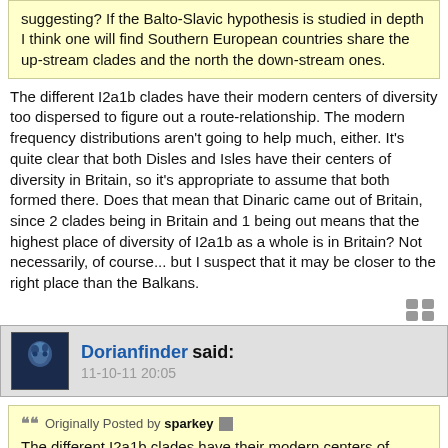suggesting? If the Balto-Slavic hypothesis is studied in depth I think one will find Southern European countries share the up-stream clades and the north the down-stream ones.
The different I2a1b clades have their modern centers of diversity too dispersed to figure out a route-relationship. The modern frequency distributions aren't going to help much, either. It's quite clear that both Disles and Isles have their centers of diversity in Britain, so it's appropriate to assume that both formed there. Does that mean that Dinaric came out of Britain, since 2 clades being in Britain and 1 being out means that the highest place of diversity of I2a1b as a whole is in Britain? Not necessarily, of course... but I suspect that it may be closer to the right place than the Balkans.
Dorianfinder said: 11-10-11 20:05
Originally Posted by sparkey
The different I2a1b clades have their modern centers of